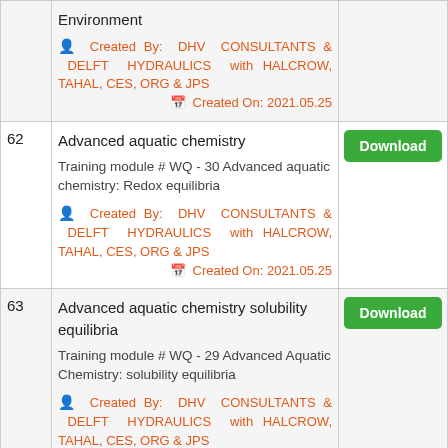| # | Content | Action |
| --- | --- | --- |
|  | Environment
Created By: DHV CONSULTANTS & DELFT HYDRAULICS with HALCROW, TAHAL, CES, ORG & JPS
Created On: 2021.05.25 |  |
| 62 | Advanced aquatic chemistry
Training module # WQ - 30 Advanced aquatic chemistry: Redox equilibria
Created By: DHV CONSULTANTS & DELFT HYDRAULICS with HALCROW, TAHAL, CES, ORG & JPS
Created On: 2021.05.25 | Download |
| 63 | Advanced aquatic chemistry solubility equilibria
Training module # WQ - 29 Advanced Aquatic Chemistry: solubility equilibria
Created By: DHV CONSULTANTS & DELFT HYDRAULICS with HALCROW, TAHAL, CES, ORG & JPS
Created On: 2021.05.25 | Download |